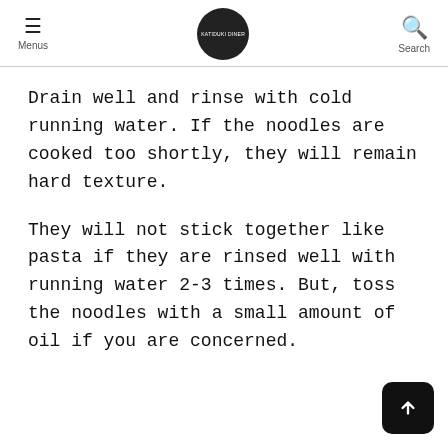Menus | [logo] | Search
Drain well and rinse with cold running water. If the noodles are cooked too shortly, they will remain hard texture.
They will not stick together like pasta if they are rinsed well with running water 2-3 times. But, toss the noodles with a small amount of oil if you are concerned.